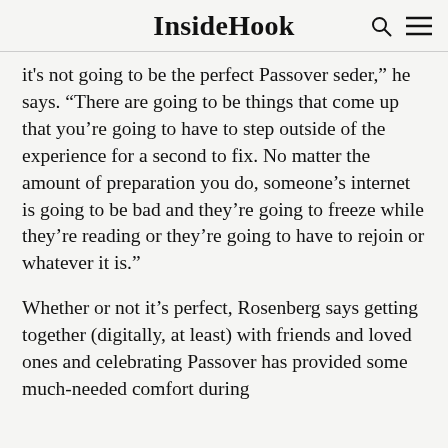InsideHook
it's not going to be the perfect Passover seder,” he says. “There are going to be things that come up that you’re going to have to step outside of the experience for a second to fix. No matter the amount of preparation you do, someone’s internet is going to be bad and they’re going to freeze while they’re reading or they’re going to have to rejoin or whatever it is.”
Whether or not it’s perfect, Rosenberg says getting together (digitally, at least) with friends and loved ones and celebrating Passover has provided some much-needed comfort during